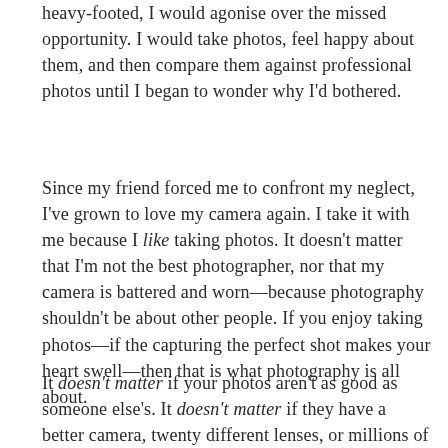heavy-footed, I would agonise over the missed opportunity. I would take photos, feel happy about them, and then compare them against professional photos until I began to wonder why I'd bothered.
Since my friend forced me to confront my neglect, I've grown to love my camera again. I take it with me because I like taking photos. It doesn't matter that I'm not the best photographer, nor that my camera is battered and worn—because photography shouldn't be about other people. If you enjoy taking photos—if the capturing the perfect shot makes your heart swell—then that is what photography is all about.
It doesn't matter if your photos aren't as good as someone else's. It doesn't matter if they have a better camera, twenty different lenses, or millions of followers on Instagram. The fact is that there will always be somebody with more money